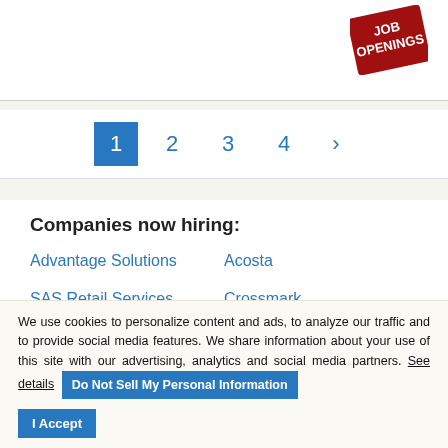[Figure (logo): Red badge/stamp graphic with white text reading JOB OPENINGS, rotated slightly, positioned top right]
1  2  3  4  >
Companies now hiring:
Advantage Solutions
Acosta
SAS Retail Services
Crossmark
We use cookies to personalize content and ads, to analyze our traffic and to provide social media features. We share information about your use of this site with our advertising, analytics and social media partners. See details  Do Not Sell My Personal Information  I Accept